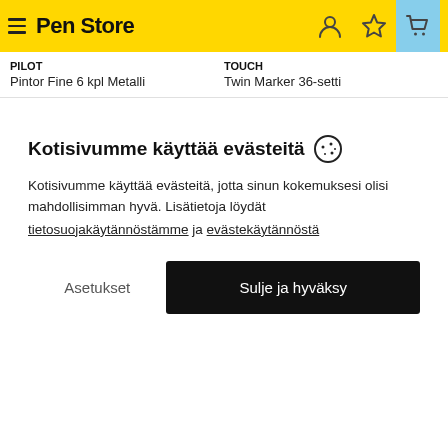Pen Store
PILOT | Pintor Fine 6 kpl Metalli
TOUCH | Twin Marker 36-setti
Kotisivumme käyttää evästeitä 🍪
Kotisivumme käyttää evästeitä, jotta sinun kokemuksesi olisi mahdollisimman hyvä. Lisätietoja löydät tietosuojakäytännöstämme ja evästekäytännöstä
Asetukset
Sulje ja hyväksy